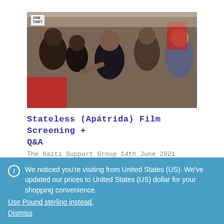[Figure (photo): Group of people at an outdoor event; a woman in center is speaking animatedly, pointing; others around her; flags visible in background]
Stateless (Apátrida) Film Screening + Q&A
The Haiti Support Group 14th June 2021
1937: Haitians and Dominicans of Haitian descent were exterminated by the Dominican army, based on anti
We noticed you're visiting from United States (US). We've updated our prices to United States (US) dollar for your shopping convenience.
Use Pound sterling instead.
Dismiss